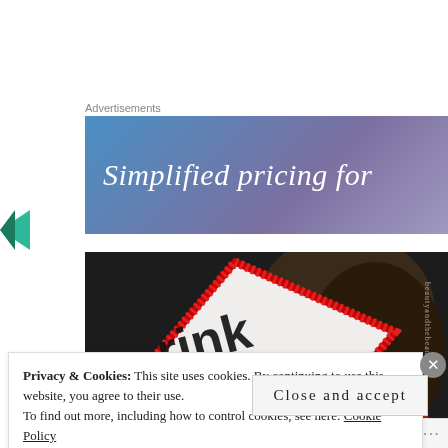Advertisements
[Figure (other): Advertisement banner with blue-to-purple gradient background and italic white text reading 'Simplified pricing for']
[Figure (photo): Close-up photo of a graduation cap decorated with red-bordered diamond pattern and black letters spelling 'drink' and partial text, with a watermark reading 'beautyandthebeandoor' along the right edge]
Privacy & Cookies: This site uses cookies. By continuing to use this website, you agree to their use.
To find out more, including how to control cookies, see here: Cookie Policy
Close and accept
Follow